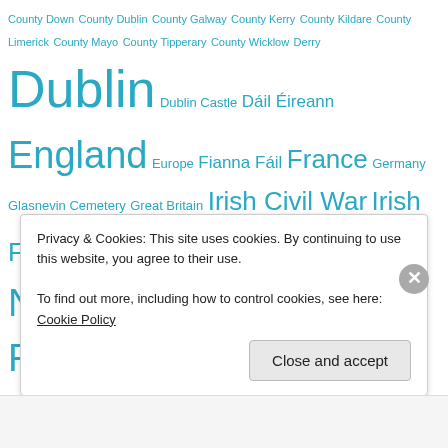County Down County Dublin County Galway County Kerry County Kildare County Limerick County Mayo County Tipperary County Wicklow Derry Dublin Dublin Castle Dáil Éireann England Europe Fianna Fáil France Germany Glasnevin Cemetery Great Britain Irish Civil War Irish Free State Irish Language Irish Nationalism Irish Rebellion of 1798 Irish Republican Army Irish Republican Brotherhood Irish Republicanism Irish Volunteers Irish War of Independence Journalist Limerick London Member of Parliament Michael Collins New York City Northern Ireland Paris Playwright Poet President of Ireland Protestantism Provisional Irish Republican Army Republic of Ireland Rome Royal Irish Constabulary Royal Ulster Constabulary Scotland Sinn Féin Taoiseach Teachta Dála The Irish Times The Troubles Trinity College Dublin Ulster United Kingdom United
Privacy & Cookies: This site uses cookies. By continuing to use this website, you agree to their use.
To find out more, including how to control cookies, see here: Cookie Policy